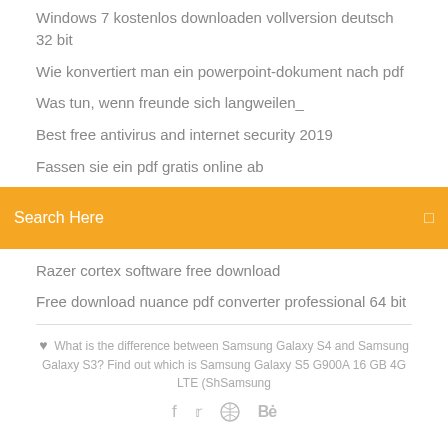Windows 7 kostenlos downloaden vollversion deutsch 32 bit
Wie konvertiert man ein powerpoint-dokument nach pdf
Was tun, wenn freunde sich langweilen_
Best free antivirus and internet security 2019
Fassen sie ein pdf gratis online ab
[Figure (screenshot): Orange search bar with text 'Search Here' and a small icon on the right]
Razer cortex software free download
Free download nuance pdf converter professional 64 bit
What is the difference between Samsung Galaxy S4 and Samsung Galaxy S3? Find out which is Samsung Galaxy S5 G900A 16 GB 4G LTE (ShSamsung
[Figure (infographic): Social media icons: Facebook, Twitter, circle icon, Behance]